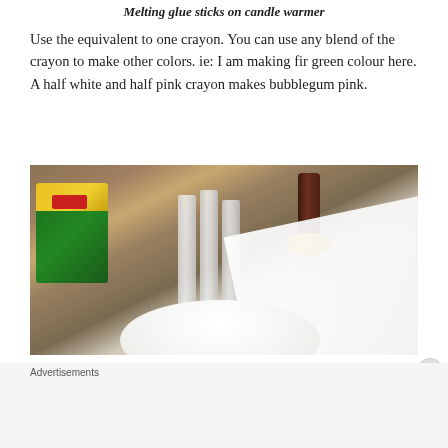Melting glue sticks on candle warmer
Use the equivalent to one crayon.  You can use any blend of the crayon to make other colors.  ie: I am making fir green colour here.  A half white and half pink crayon makes bubblegum pink.
[Figure (photo): Photo showing glue sticks, a Crayola crayon box, a wax seal stamp with dark wooden handle, white paper, and what appears to be a candle warmer on a wooden table surface]
Advertisements
[Figure (screenshot): Seamless food delivery advertisement banner showing pizza image on left, Seamless logo in red badge in center, and ORDER NOW button on right, on dark background]